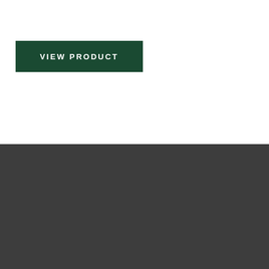VIEW PRODUCT
[Figure (logo): W.I. Enterprises Ltd. logo in white on dark grey background]
Address: 3090 Jarrow Ave, Mississauga, Ontario, L4X 2C7
Phone: 905-629-1424
Toll Free: 1-888-629-1424